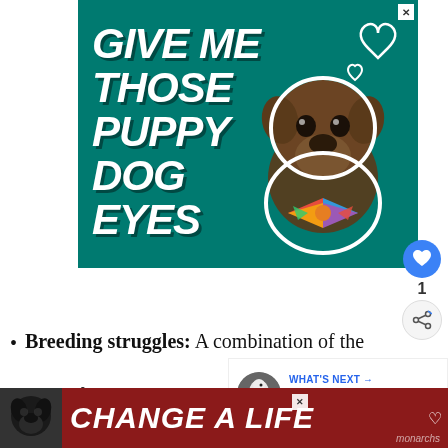[Figure (photo): Advertisement banner with teal background showing a brindle puppy wearing a colorful bow tie, with large white bold italic text reading 'GIVE ME THOSE PUPPY DOG EYES' and heart outline decorations. Close button (X) in top right corner.]
Breeding struggles: A combination of the above factors have made breeding difficult for monarchs. Loss of habitat
[Figure (infographic): What's Next sidebar showing an eagle photo with text 'WHAT'S NEXT → What Happens If You Kill A...']
[Figure (photo): Bottom advertisement banner with dark red background showing a black dog and bold white italic text 'CHANGE A LIFE' with a heart icon. Close button visible.]